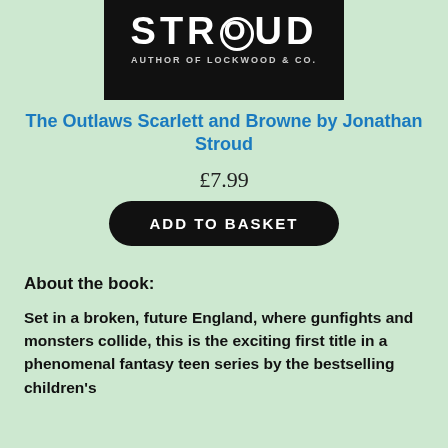[Figure (photo): Book cover showing author name STROUD and subtitle AUTHOR OF LOCKWOOD & CO. in white text on black background]
The Outlaws Scarlett and Browne by Jonathan Stroud
£7.99
ADD TO BASKET
About the book:
Set in a broken, future England, where gunfights and monsters collide, this is the exciting first title in a phenomenal fantasy teen series by the bestselling children's